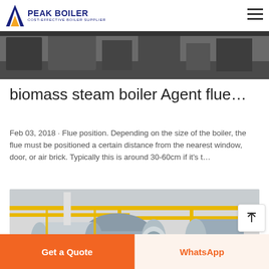PEAK BOILER — COST-EFFECTIVE BOILER SUPPLIER
[Figure (photo): Top strip image of industrial boiler room interior, dark tones]
biomass steam boiler Agent flue…
Feb 03, 2018 · Flue position. Depending on the size of the boiler, the flue must be positioned a certain distance from the nearest window, door, or air brick. Typically this is around 30-60cm if it's t…
[Figure (photo): Industrial boiler room with large horizontal cylindrical boilers, yellow overhead pipework, white walls]
Get a Quote
WhatsApp